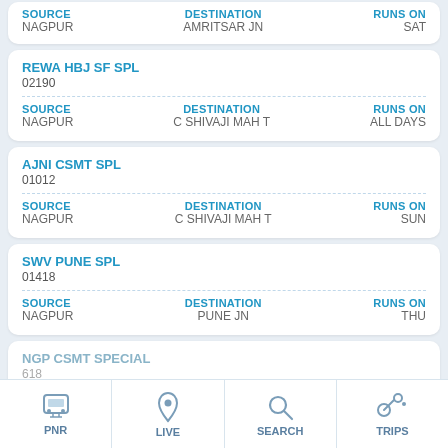SOURCE: NAGPUR | DESTINATION: AMRITSAR JN | RUNS ON: SAT
REWA HBJ SF SPL
02190
SOURCE: NAGPUR | DESTINATION: C SHIVAJI MAH T | RUNS ON: ALL DAYS
AJNI CSMT SPL
01012
SOURCE: NAGPUR | DESTINATION: C SHIVAJI MAH T | RUNS ON: SUN
SWV PUNE SPL
01418
SOURCE: NAGPUR | DESTINATION: PUNE JN | RUNS ON: THU
NGP CSMT SPECIAL
618
SOURCE: ...
PNR | LIVE | SEARCH | TRIPS